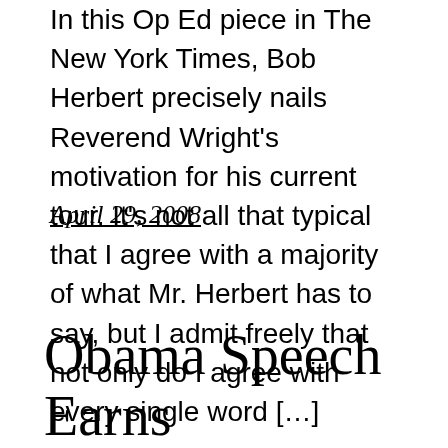In this Op Ed piece in The New York Times, Bob Herbert precisely nails Reverend Wright's motivation for his current tour. It's not all that typical that I agree with a majority of what Mr. Herbert has to say, but I admit freely that not only do I agree with every single word […]
April 29, 2008
Obama Speech Earns